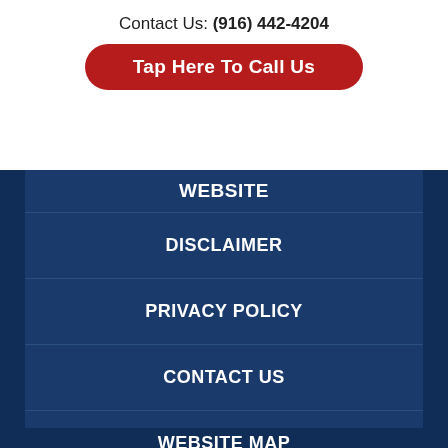Contact Us: (916) 442-4204
Tap Here To Call Us
WEBSITE
DISCLAIMER
PRIVACY POLICY
CONTACT US
WEBSITE MAP
BLOG POSTS